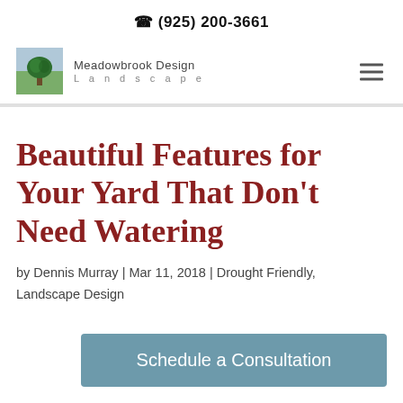☎ (925) 200-3661
[Figure (logo): Meadowbrook Design Landscape logo with tree/landscape icon]
Beautiful Features for Your Yard That Don't Need Watering
by Dennis Murray | Mar 11, 2018 | Drought Friendly, Landscape Design
Schedule a Consultation